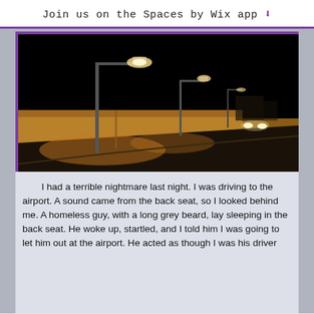Join us on the Spaces by Wix app ⬇
[Figure (photo): Night scene of a road or promenade with street lamps illuminating a low stone wall, dark sky in background, headlights of a vehicle visible in the distance]
I had a terrible nightmare last night. I was driving to the airport. A sound came from the back seat, so I looked behind me. A homeless guy, with a long grey beard, lay sleeping in the back seat. He woke up, startled, and I told him I was going to let him out at the airport. He acted as though I was his driver